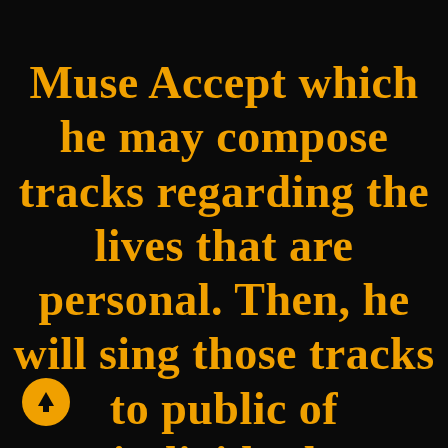Muse Accept which he may compose tracks regarding the lives that are personal. Then, he will sing those tracks to public of individuals you are aware plus